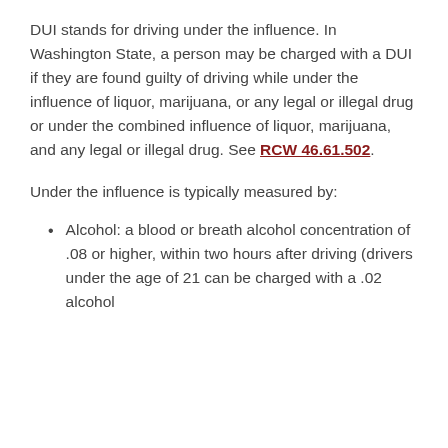DUI stands for driving under the influence. In Washington State, a person may be charged with a DUI if they are found guilty of driving while under the influence of liquor, marijuana, or any legal or illegal drug or under the combined influence of liquor, marijuana, and any legal or illegal drug. See RCW 46.61.502.
Under the influence is typically measured by:
Alcohol: a blood or breath alcohol concentration of .08 or higher, within two hours after driving (drivers under the age of 21 can be charged with a .02 alcohol